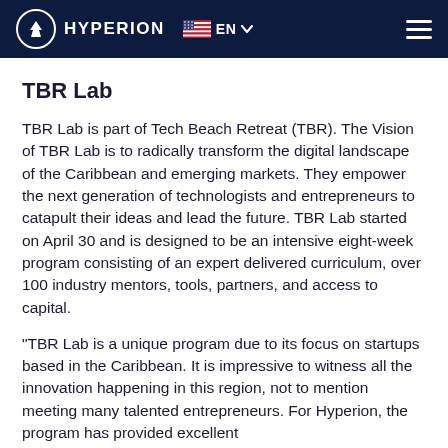HYPERION  EN
TBR Lab
TBR Lab is part of Tech Beach Retreat (TBR). The Vision of TBR Lab is to radically transform the digital landscape of the Caribbean and emerging markets. They empower the next generation of technologists and entrepreneurs to catapult their ideas and lead the future. TBR Lab started on April 30 and is designed to be an intensive eight-week program consisting of an expert delivered curriculum, over 100 industry mentors, tools, partners, and access to capital.
"TBR Lab is a unique program due to its focus on startups based in the Caribbean. It is impressive to witness all the innovation happening in this region, not to mention meeting many talented entrepreneurs. For Hyperion, the program has provided excellent